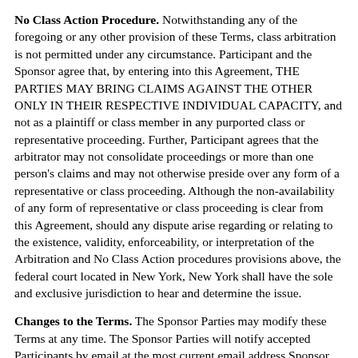No Class Action Procedure. Notwithstanding any of the foregoing or any other provision of these Terms, class arbitration is not permitted under any circumstance. Participant and the Sponsor agree that, by entering into this Agreement, THE PARTIES MAY BRING CLAIMS AGAINST THE OTHER ONLY IN THEIR RESPECTIVE INDIVIDUAL CAPACITY, and not as a plaintiff or class member in any purported class or representative proceeding. Further, Participant agrees that the arbitrator may not consolidate proceedings or more than one person's claims and may not otherwise preside over any form of a representative or class proceeding. Although the non-availability of any form of representative or class proceeding is clear from this Agreement, should any dispute arise regarding or relating to the existence, validity, enforceability, or interpretation of the Arbitration and No Class Action procedures provisions above, the federal court located in New York, New York shall have the sole and exclusive jurisdiction to hear and determine the issue.
Changes to the Terms. The Sponsor Parties may modify these Terms at any time. The Sponsor Parties will notify accepted Participants by email at the most current email address Sponsor has on record when any material changes to these Terms are made. Continued participation in the Program thereafter signifies acceptance to such modified Terms. Sponsor will also post the most current version of the Terms on its website and encourages